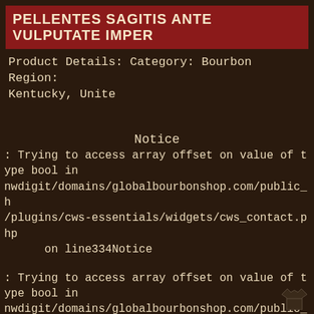PELLENTES SAGITIS ANTE VULPUTATE IMPER
Product Details: Category: Bourbon Region: Kentucky, Unite
Notice
: Trying to access array offset on value of type bool in nwdigit/domains/globalbourbonshop.com/public_h/plugins/cws-essentials/widgets/cws_contact.php on line334Notice
: Trying to access array offset on value of type bool in nwdigit/domains/globalbourbonshop.com/public_h/plugins/cws-essentials/widgets/cws_contact.php on line335Notice